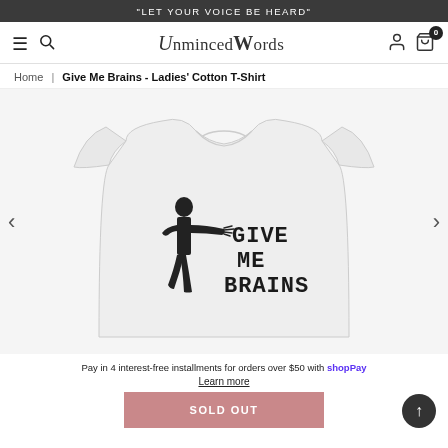"LET YOUR VOICE BE HEARD"
[Figure (screenshot): Navigation bar with hamburger menu, search icon, UnmincedWords logo, user icon, and cart icon with badge showing 0]
Home | Give Me Brains - Ladies' Cotton T-Shirt
[Figure (photo): White ladies' cotton t-shirt with zombie silhouette graphic and text reading GIVE ME BRAINS]
Pay in 4 interest-free installments for orders over $50 with shopPay
Learn more
SOLD OUT